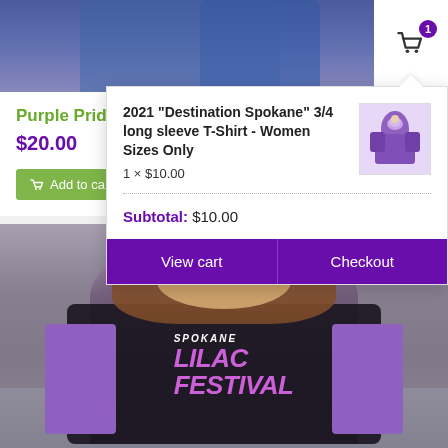[Figure (screenshot): E-commerce product page screenshot showing a Purple Pride Spokane item priced at $20.00 with a cart dropdown overlay. The dropdown shows: 2021 Destination Spokane 3/4 long sleeve T-Shirt - Women Sizes Only, 1 x $10.00, Subtotal: $10.00, with View cart and Checkout buttons. Background shows a woman wearing a Spokane Lilac Festival t-shirt.]
Purple Pride Spoka...
$20.00
Add to cart
2021 "Destination Spokane" 3/4 long sleeve T-Shirt - Women Sizes Only
1 × $10.00
Subtotal: $10.00
View cart
Checkout